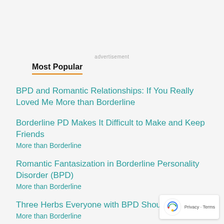advertisement
Most Popular
BPD and Romantic Relationships: If You Really Loved Me More than Borderline
Borderline PD Makes It Difficult to Make and Keep Friends
More than Borderline
Romantic Fantasization in Borderline Personality Disorder (BPD)
More than Borderline
Three Herbs Everyone with BPD Should Know Ab...
More than Borderline